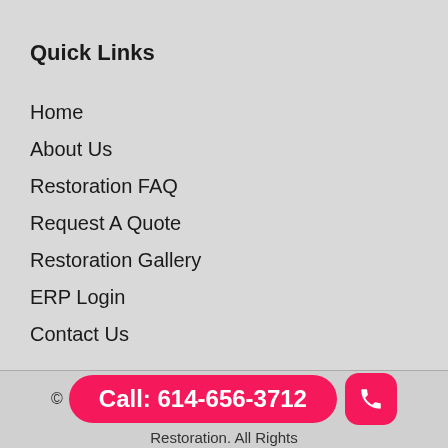Quick Links
Home
About Us
Restoration FAQ
Request A Quote
Restoration Gallery
ERP Login
Contact Us
© Call: 614-656-3712  Restoration. All Rights